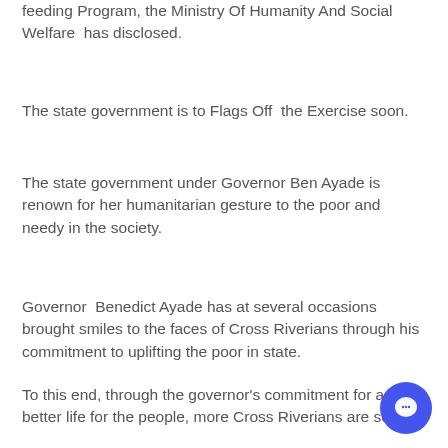feeding Program, the Ministry Of Humanity And Social Welfare  has disclosed.
The state government is to Flags Off  the Exercise soon.
The state government under Governor Ben Ayade is renown for her humanitarian gesture to the poor and needy in the society.
Governor  Benedict Ayade has at several occasions brought smiles to the faces of Cross Riverians through his commitment to uplifting the poor in state.
To this end, through the governor's commitment for a better life for the people, more Cross Riverians are set to